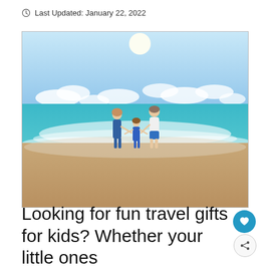Last Updated: January 22, 2022
[Figure (photo): A family of three — two adults and a child — standing at the shoreline of a beach, holding hands, facing the ocean. Sunny sky with scattered clouds, turquoise water and waves washing onto sandy beach.]
Looking for fun travel gifts for kids? Whether your little ones